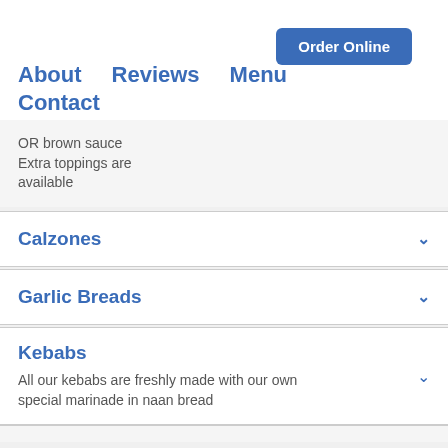Order Online
About   Reviews   Menu   Contact
OR brown sauce
Extra toppings are available
Calzones
Garlic Breads
Kebabs
All our kebabs are freshly made with our own special marinade in naan bread